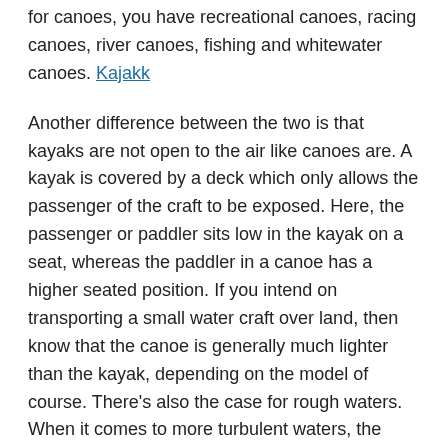for canoes, you have recreational canoes, racing canoes, river canoes, fishing and whitewater canoes. Kajakk
Another difference between the two is that kayaks are not open to the air like canoes are. A kayak is covered by a deck which only allows the passenger of the craft to be exposed. Here, the passenger or paddler sits low in the kayak on a seat, whereas the paddler in a canoe has a higher seated position. If you intend on transporting a small water craft over land, then know that the canoe is generally much lighter than the kayak, depending on the model of course. There's also the case for rough waters. When it comes to more turbulent waters, the kayak can deal with the waves much better than any canoe. Kano
When choosing which is the better choice for you, it all boils down to why you want to own a small water craft in the first place. For instance, If you intend to carry many supplies on your trip, then a canoe would be a better choice, as the kayak stores items in its